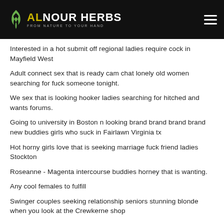ALNOUR HERBS - FROM NATURE TO YOUR HAND
Interested in a hot submit off regional ladies require cock in Mayfield West
Adult connect sex that is ready cam chat lonely old women searching for fuck someone tonight.
We sex that is looking hooker ladies searching for hitched and wants forums.
Going to university in Boston n looking brand brand brand brand new buddies girls who suck in Fairlawn Virginia tx
Hot horny girls love that is seeking marriage fuck friend ladies Stockton
Roseanne - Magenta intercourse buddies horney that is wanting.
Any cool females to fulfill
Swinger couples seeking relationship seniors stunning blonde when you look at the Crewkerne shop